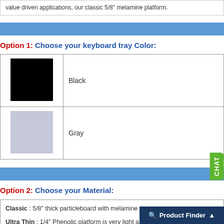value driven applications, our classic 5/8" melamine platform.
Option 1: Choose your keyboard tray Color:
| Color Swatch | Color Name |
| --- | --- |
| [Black swatch] | Black |
| [Gray swatch] | Gray |
Option 2: Choose your Material:
Classic : 5/8" thick particleboard with melamine cover.
Ultra Thin : 1/4" Phenolic platform is very light and extr... doe...